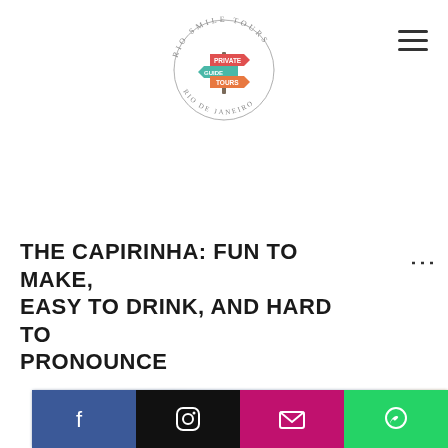[Figure (logo): Rio Smile Tours circular logo with colorful directional signs (Private Tours, Guide Tours) on a pole, text arched around reading 'RIO SMILE TOURS' and 'RIO DE JANEIRO']
THE CAPIRINHA: FUN TO MAKE, EASY TO DRINK, AND HARD TO PRONOUNCE
[Figure (photo): Blurred photo strip showing people or scenery, partially visible]
[Figure (infographic): Social media icon bar with Facebook, Instagram, Email, and WhatsApp buttons]